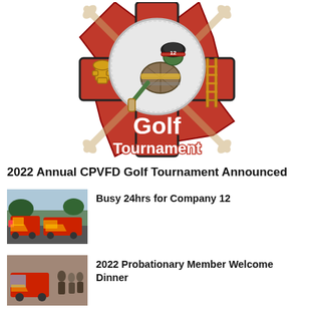[Figure (logo): CPVFD Golf Tournament logo: a red Maltese cross background with crossed golf clubs, a cartoon turtle mascot wearing a firefighter helmet numbered 12 and a firefighter coat holding a golf club, with a golf ball circle in the center, fire hydrant and ladder motifs, and the text 'Golf Tournament' in large white and red lettering at the bottom.]
2022 Annual CPVFD Golf Tournament Announced
[Figure (photo): A photo of red fire trucks parked on a street with trees and buildings in the background.]
Busy 24hrs for Company 12
[Figure (photo): A photo showing fire trucks and people gathered, possibly at a fire station event or dinner.]
2022 Probationary Member Welcome Dinner